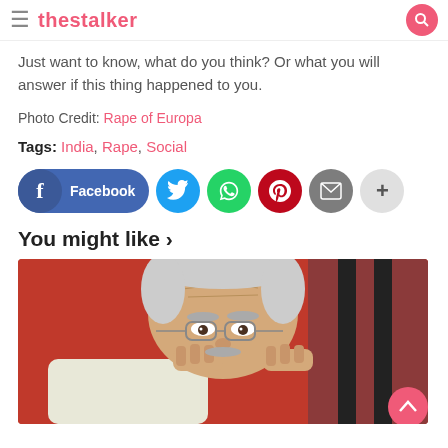thestalker
Just want to know, what do you think? Or what you will answer if this thing happened to you.
Photo Credit: Rape of Europa
Tags: India, Rape, Social
[Figure (infographic): Social share buttons: Facebook, Twitter, WhatsApp, Pinterest, Email, More]
You might like >
[Figure (photo): Elderly man with grey hair and glasses looking over spectacles against an orange background]